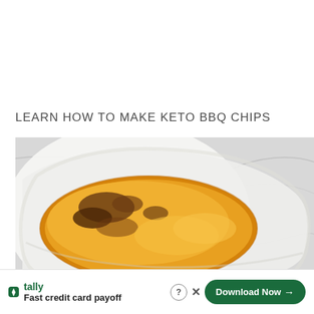LEARN HOW TO MAKE KETO BBQ CHIPS
[Figure (photo): Overhead close-up photo of a golden-brown, crispy keto BBQ chip in a white ceramic dish on a marble surface.]
tally Fast credit card payoff Download Now →